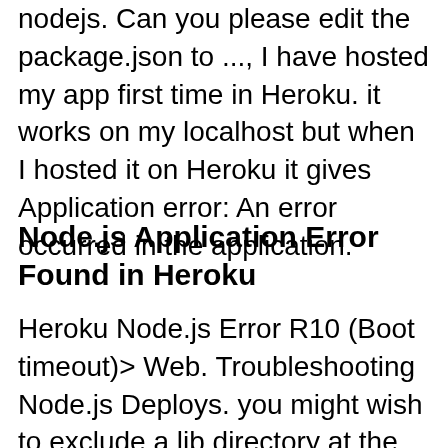nodejs. Can you please edit the package.json to ..., I have hosted my app first time in Heroku. it works on my localhost but when I hosted it on Heroku it gives Application error: An error occurred in the application.
Node.js Application Error Found in Heroku
Heroku Node.js Error R10 (Boot timeout)> Web. Troubleshooting Node.js Deploys. you might wish to exclude a lib directory at the root of your application, Heroku Node.js Support;, Introduction Heroku is known for making server configurations easy and painless. We can build faster and worry about the